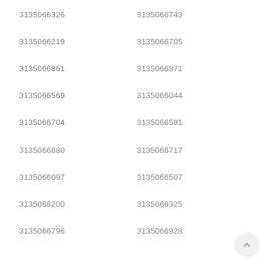3135066326   3135066743
3135066219   3135066705
3135066861   3135066871
3135066569   3135066044
3135066704   3135066591
3135066880   3135066717
3135066097   3135066507
3135066200   3135066325
3135066796   3135066928